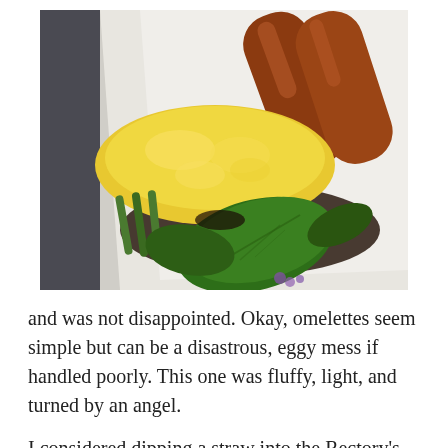[Figure (photo): Close-up photo of a plated omelette dish on a white plate with sausages, asparagus, and fresh green salad leaves]
and was not disappointed. Okay, omelettes seem simple but can be a disastrous, eggy mess if handled poorly. This one was fluffy, light, and turned by an angel.
I considered dipping a straw into the Rectory's trendiest drink for dessert. But I was hesitant... did